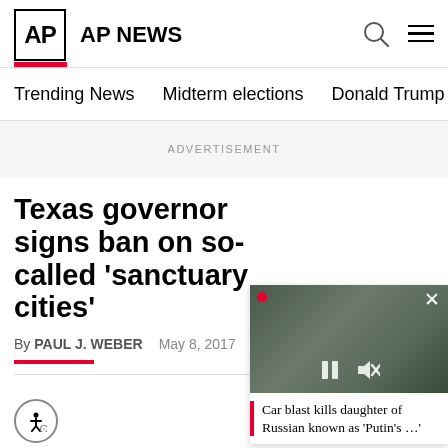AP AP NEWS
Trending News
Midterm elections
Donald Trump
Russia-Ukr
ADVERTISEMENT
Texas governor signs ban on so-called 'sanctuary cities'
By PAUL J. WEBER    May 8, 2017
AUSTIN, Texas (AP) — Texas pus... national debate over immigration...
[Figure (photo): Video thumbnail showing soldiers, with caption: Car blast kills daughter of Russian known as 'Putin's ...']